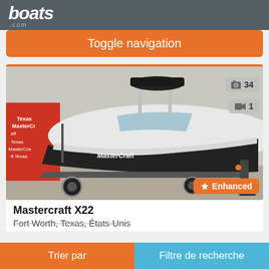boats.com
Toggle navigation
[Figure (photo): A white and black Mastercraft X22 boat on a trailer inside a Texas MasterCraft dealership. The boat features a bimini top and chrome tower. Photo count badge showing 34 photos and 1 video. Enhanced badge in orange.]
Mastercraft X22
Fort Worth, Texas, États-Unis
Trier par    Filtre de recherche